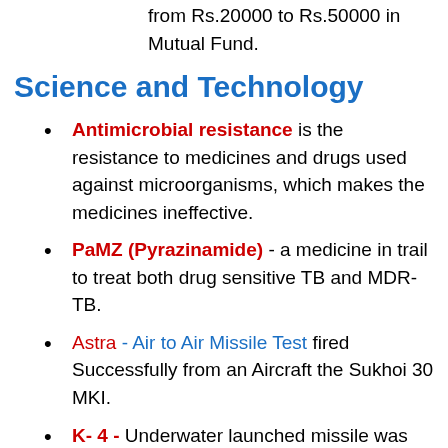SEBI increased the cash transaction limit from Rs.20000 to Rs.50000 in Mutual Fund.
Science and Technology
Antimicrobial resistance is the resistance to medicines and drugs used against microorganisms, which makes the medicines ineffective.
PaMZ (Pyrazinamide) - a medicine in trail to treat both drug sensitive TB and MDR-TB.
Astra - Air to Air Missile Test fired Successfully from an Aircraft the Sukhoi 30 MKI.
K- 4 - Underwater launched missile was successfully tested. India is the fifth country in the world to have such a kind of